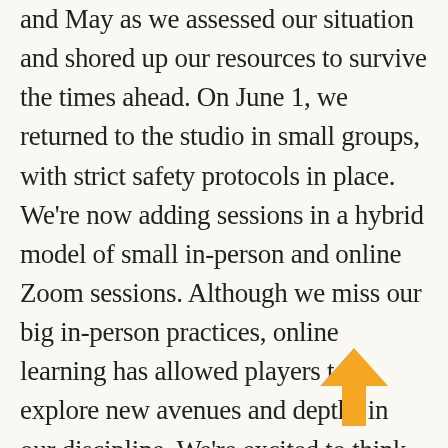and May as we assessed our situation and shored up our resources to survive the times ahead. On June 1, we returned to the studio in small groups, with strict safety protocols in place. We're now adding sessions in a hybrid model of small in-person and online Zoom sessions. Although we miss our big in-person practices, online learning has allowed players to explore new avenues and depths in our discipline. We're excited to think of bringing that to our audiences as soon as we're able!
[Figure (illustration): Orange/yellow upward-pointing arrow icon]